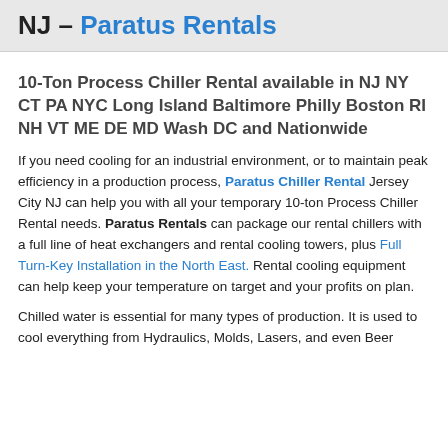NJ – Paratus Rentals
10-Ton Process Chiller Rental available in NJ NY CT PA NYC Long Island Baltimore Philly Boston RI NH VT ME DE MD Wash DC and Nationwide
If you need cooling for an industrial environment, or to maintain peak efficiency in a production process, Paratus Chiller Rental Jersey City NJ can help you with all your temporary 10-ton Process Chiller Rental needs. Paratus Rentals can package our rental chillers with a full line of heat exchangers and rental cooling towers, plus Full Turn-Key Installation in the North East. Rental cooling equipment can help keep your temperature on target and your profits on plan.
Chilled water is essential for many types of production. It is used to cool everything from Hydraulics, Molds, Lasers, and even Beer